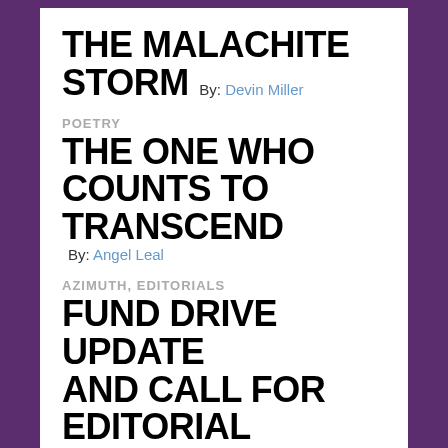THE MALACHITE STORM By: Devin Miller
POETRY
THE ONE WHO COUNTS TO TRANSCEND By: Angel Leal
AZIMUTH, EDITORIALS
FUND DRIVE UPDATE AND CALL FOR EDITORIAL VOLUNTEERS